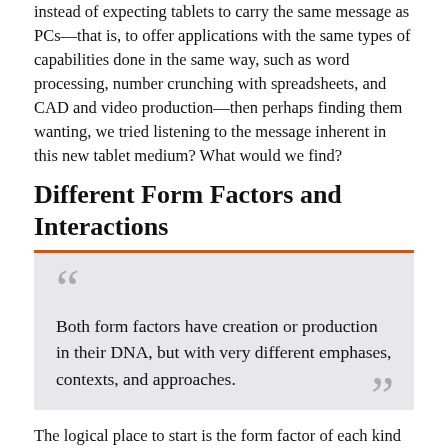instead of expecting tablets to carry the same message as PCs—that is, to offer applications with the same types of capabilities done in the same way, such as word processing, number crunching with spreadsheets, and CAD and video production—then perhaps finding them wanting, we tried listening to the message inherent in this new tablet medium? What would we find?
Different Form Factors and Interactions
Both form factors have creation or production in their DNA, but with very different emphases, contexts, and approaches.
The logical place to start is the form factor of each kind of device, as well as its method of interaction, as follows:
The PC—Whether notebook or desktop, the PC evolved from the typewriter. A keyboard rests on a